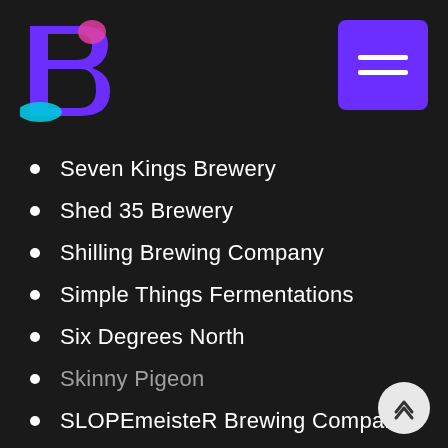Brewery list page header with logo and menu button
Seven Kings Brewery
Shed 35 Brewery
Shilling Brewing Company
Simple Things Fermentations
Six Degrees North
Skinny Pigeon
SLOPEmeisteR Brewing Company
Spey Valley Brewery
St Andrews Brewing
Stenroth Brewing
Stewart Brewing
Strathaven Ales
Strathbraan Brewery
Strathcarron Brewery